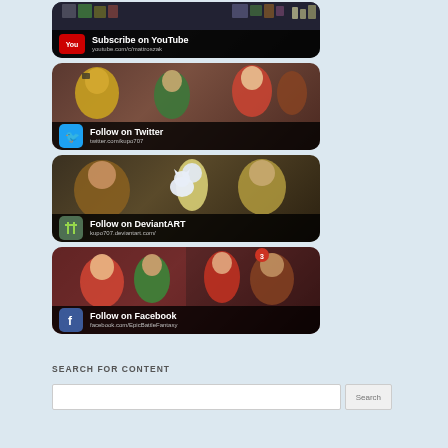[Figure (illustration): Subscribe on YouTube banner with pixel art game sprites, YouTube icon, text 'Subscribe on YouTube' and URL 'youtube.com/c/mattroszak']
[Figure (illustration): Follow on Twitter banner with anime-style characters, Twitter bird icon, text 'Follow on Twitter' and URL 'twitter.com/kupo707']
[Figure (illustration): Follow on DeviantART banner with fantasy game characters and white cat, DeviantART icon, text 'Follow on DeviantART' and URL 'kupo707.deviantart.com/']
[Figure (illustration): Follow on Facebook banner with anime style game characters, Facebook icon, text 'Follow on Facebook' and URL 'facebook.com/EpicBattleFantasy']
SEARCH FOR CONTENT